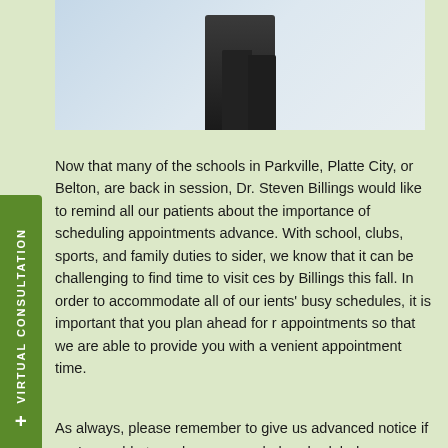[Figure (photo): Partial photo of a person wearing dark/black jeans, shown from waist down, with a light blurred background. Upper portion of a person visible at the top of the page.]
Now that many of the schools in Parkville, Platte City, or Belton, are back in session, Dr. Steven Billings would like to remind all our patients about the importance of scheduling appointments advance. With school, clubs, sports, and family duties to sider, we know that it can be challenging to find time to visit ces by Billings this fall. In order to accommodate all of our ients' busy schedules, it is important that you plan ahead for r appointments so that we are able to provide you with a venient appointment time.
As always, please remember to give us advanced notice if you're unable to make your regularly scheduled appointment with Dr. Steven Billings and our team. Feel free to give us a call if you have any questions, or if you would like to schedule your fall